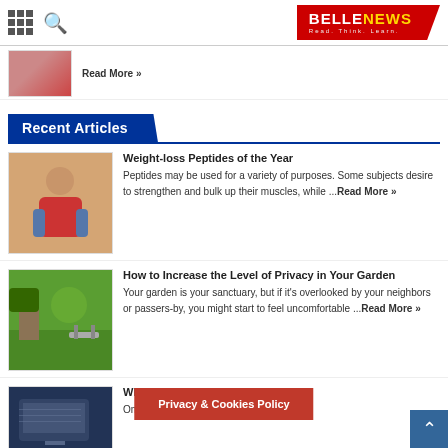BELLENEWS — Read. Think. Learn.
[Figure (photo): Partial article image showing a person in red top]
Read More »
Recent Articles
[Figure (photo): Woman showing weight loss results, wearing oversize jeans]
Weight-loss Peptides of the Year
Peptides may be used for a variety of purposes. Some subjects desire to strengthen and bulk up their muscles, while ...Read More »
[Figure (photo): Garden with lush green plants and outdoor furniture]
How to Increase the Level of Privacy in Your Garden
Your garden is your sanctuary, but if it's overlooked by your neighbors or passers-by, you might start to feel uncomfortable ...Read More »
[Figure (photo): Business laptop and technology image]
What Does a Bu...
One of the mos...ern business
Privacy & Cookies Policy